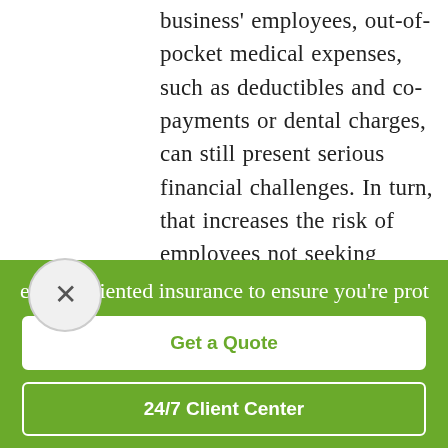business' employees, out-of-pocket medical expenses, such as deductibles and co-payments or dental charges, can still present serious financial challenges. In turn, that increases the risk of employees not seeking necessary treatment. This could lead to the potential worsening of health problems, which could leave some employees unable to work.
ervice-oriented insurance to ensure you're prot
Get a Quote
24/7 Client Center